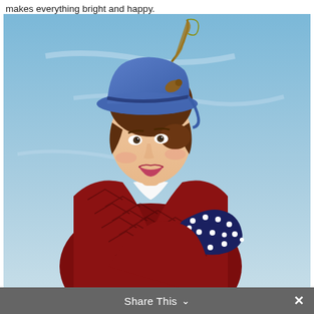makes everything bright and happy.
[Figure (photo): Emily Blunt as Mary Poppins Returns movie poster — woman in red chevron coat and blue polka-dot gloves wearing a blue hat with feathers, against a blue sky background]
Share This  ×